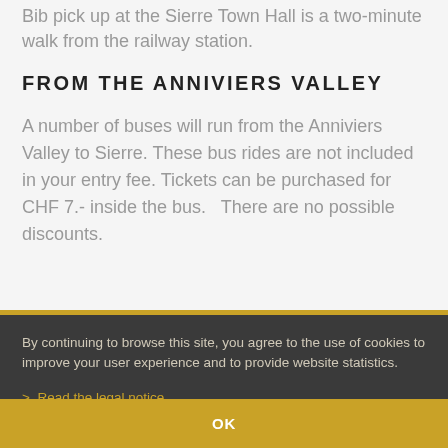Bib pick up at the Sierre Town Hall is a two-minute walk from the railway station.
FROM THE ANNIVIERS VALLEY
A number of buses will run from the Anniviers Valley to Sierre. These bus rides are not included in your entry fee. Tickets can be purchased for CHF 7.- inside the bus.   There are no possible discounts.
By continuing to browse this site, you agree to the use of cookies to improve your user experience and to provide website statistics.
> Read the legal notice
OK